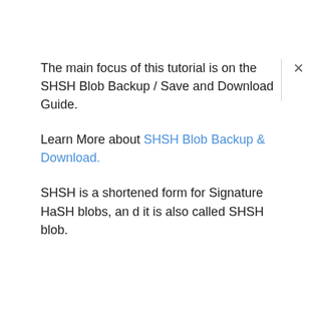The main focus of this tutorial is on the SHSH Blob Backup / Save and Download Guide.
Learn More about SHSH Blob Backup & Download.
SHSH is a shortened form for Signature HaSH blobs, and it is also called SHSH blob.